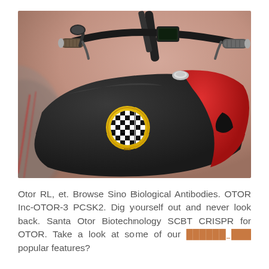[Figure (photo): Close-up photograph of a custom motorcycle fuel tank, matte black with red accent stripe, featuring a yellow circular logo with a checkered pattern. Handlebars with grips and a small display visible in upper portion. Background is blurred pink/beige.]
Otor RL, et. Browse Sino Biological Antibodies. OTOR Inc-OTOR-3 PCSK2. Dig yourself out and never look back. Santa Otor Biotechnology SCBT CRISPR for OTOR. Take a look at some of our [link text] popular features?